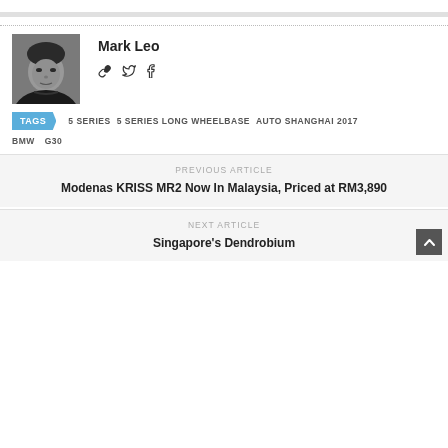[Figure (photo): Black and white portrait photo of Mark Leo]
Mark Leo
Social icons: link, twitter, facebook
TAGS  5 SERIES  5 SERIES LONG WHEELBASE  AUTO SHANGHAI 2017  BMW  G30
PREVIOUS ARTICLE
Modenas KRISS MR2 Now In Malaysia, Priced at RM3,890
NEXT ARTICLE
Singapore's Dendrobium